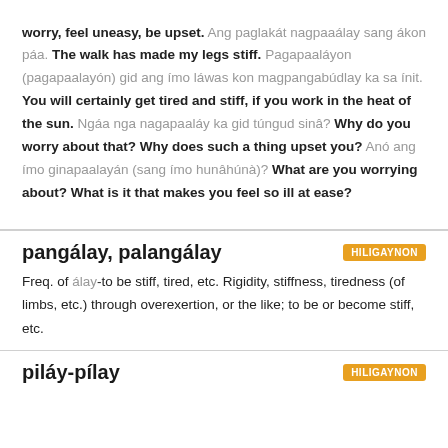worry, feel uneasy, be upset. Ang paglakát nagpaaálay sang ákon páa. The walk has made my legs stiff. Pagapaaláyon (pagapaalayón) gid ang ímo láwas kon magpangabúdlay ka sa ínit. You will certainly get tired and stiff, if you work in the heat of the sun. Ngáa nga nagapaaláy ka gid túngud sinâ? Why do you worry about that? Why does such a thing upset you? Anó ang ímo ginapaalayán (sang ímo hunâhúnà)? What are you worrying about? What is it that makes you feel so ill at ease?
pangálay, palangálay
Freq. of álay-to be stiff, tired, etc. Rigidity, stiffness, tiredness (of limbs, etc.) through overexertion, or the like; to be or become stiff, etc.
piláy-pílay